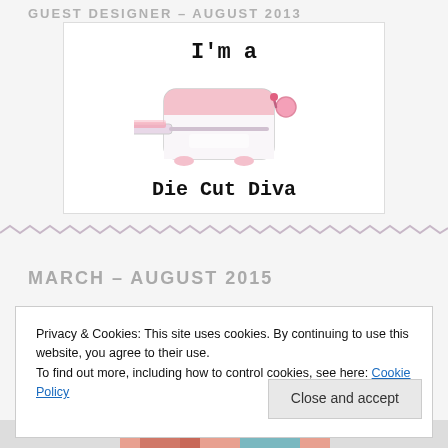GUEST DESIGNER – AUGUST 2013
[Figure (illustration): Badge image showing a pink die cutting machine with text 'I'm a' at the top and 'Die Cut Diva' at the bottom]
MARCH – AUGUST 2015
Privacy & Cookies: This site uses cookies. By continuing to use this website, you agree to their use.
To find out more, including how to control cookies, see here: Cookie Policy
Close and accept